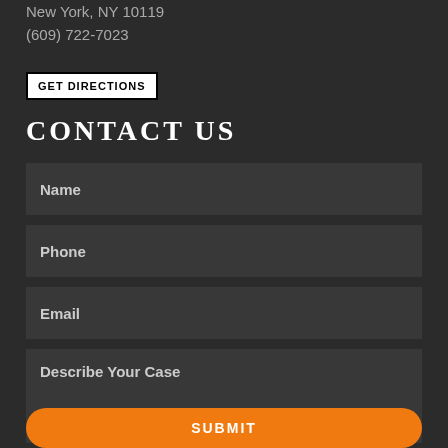New York, NY 10119
(609) 722-7023
GET DIRECTIONS
CONTACT US
Name
Phone
Email
Describe Your Case
SUBMIT